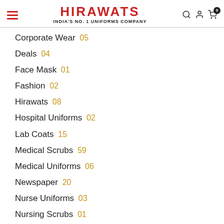HIRAWATS — INDIA'S NO. 1 UNIFORMS COMPANY
Corporate Wear 05
Deals 04
Face Mask 01
Fashion 02
Hirawats 08
Hospital Uniforms 02
Lab Coats 15
Medical Scrubs 59
Medical Uniforms 06
Newspaper 20
Nurse Uniforms 03
Nursing Scrubs 01
OT Dress 01
OT Gowns 02
Premium Scrubs 01